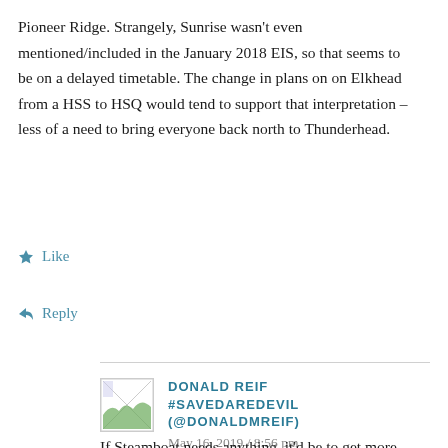Pioneer Ridge. Strangely, Sunrise wasn't even mentioned/included in the January 2018 EIS, so that seems to be on a delayed timetable. The change in plans on on Elkhead from a HSS to HSQ would tend to support that interpretation – less of a need to bring everyone back north to Thunderhead.
Like
Reply
DONALD REIF #SAVEDAREDEVIL (@DONALDMREIF)
May 16, 2019 / 8:56 pm
If Steamboat needs anything, it'd be to get more people into Pioneer